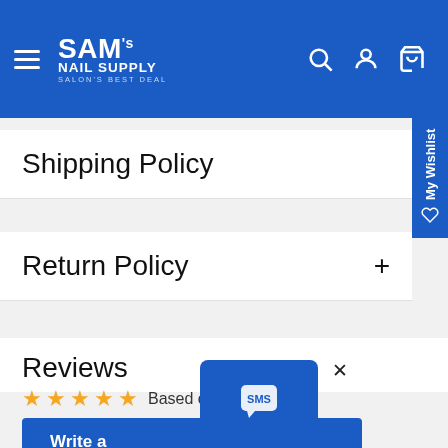[Figure (screenshot): SAM's Nail Supply website header with blue background, hamburger menu, logo, search, account, and cart icons]
Shipping Policy
Return Policy
Reviews
Based on 6 reviews
Write a